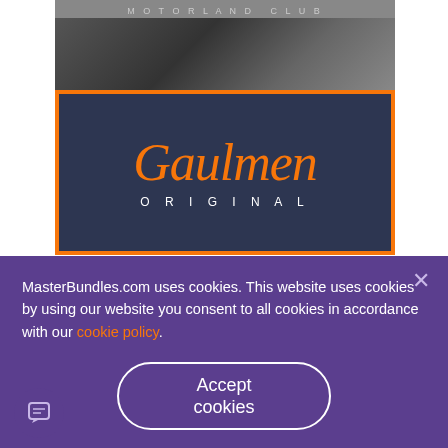[Figure (screenshot): Motorland Club banner with vintage motorcycle photo at top]
[Figure (logo): Gaulmen Original logo: dark navy background with orange border, orange cursive 'Gaulmen' text and white 'ORIGINAL' subtitle]
[Figure (screenshot): Orange 'More Details' button with play/info icon]
MasterBundles.com uses cookies. This website uses cookies by using our website you consent to all cookies in accordance with our cookie policy.
[Figure (screenshot): Accept cookies button — white outlined rounded rectangle on purple background]